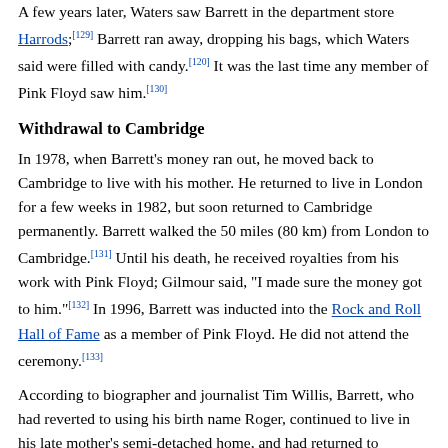A few years later, Waters saw Barrett in the department store Harrods;[129] Barrett ran away, dropping his bags, which Waters said were filled with candy.[120] It was the last time any member of Pink Floyd saw him.[130]
Withdrawal to Cambridge
In 1978, when Barrett's money ran out, he moved back to Cambridge to live with his mother. He returned to live in London for a few weeks in 1982, but soon returned to Cambridge permanently. Barrett walked the 50 miles (80 km) from London to Cambridge.[131] Until his death, he received royalties from his work with Pink Floyd; Gilmour said, "I made sure the money got to him."[132] In 1996, Barrett was inducted into the Rock and Roll Hall of Fame as a member of Pink Floyd. He did not attend the ceremony.[133]
According to biographer and journalist Tim Willis, Barrett, who had reverted to using his birth name Roger, continued to live in his late mother's semi-detached home, and had returned to painting, creating large abstract canvases. He was also an avid gardener. His main point of contact with the outside world was his sister, Rosemary, who lived nearby. He was reclusive, and his physical health declined and he became obese due to a poor diet.[134]